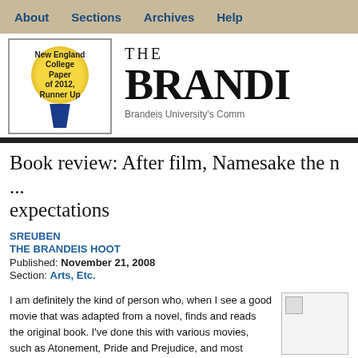About | Sections | Archives | Help
[Figure (logo): New England College Paper of 2012, Runner Up award badge with gold medal and blue ribbon]
THE BRANDEIS
Brandeis University's Comm
Book review: After film, Namesake the n... expectations
SREUBEN
THE BRANDEIS HOOT
Published: November 21, 2008
Section: Arts, Etc.
I am definitely the kind of person who, when I see a good movie that was adapted from a novel, finds and reads the original book. I've done this with various movies, such as Atonement, Pride and Prejudice, and most recently, The Namesake.
I saw the movie this summer, in parts, on Encore. I kept tuning in
[Figure (photo): Article image placeholder]